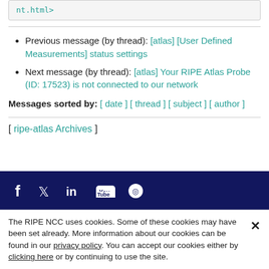nt.html>
Previous message (by thread): [atlas] [User Defined Measurements] status settings
Next message (by thread): [atlas] Your RIPE Atlas Probe (ID: 17523) is not connected to our network
Messages sorted by: [ date ] [ thread ] [ subject ] [ author ]
[ ripe-atlas Archives ]
[Figure (other): Dark navy footer bar with social media icons: Facebook, Twitter, LinkedIn, YouTube, GitHub]
The RIPE NCC uses cookies. Some of these cookies may have been set already. More information about our cookies can be found in our privacy policy. You can accept our cookies either by clicking here or by continuing to use the site.